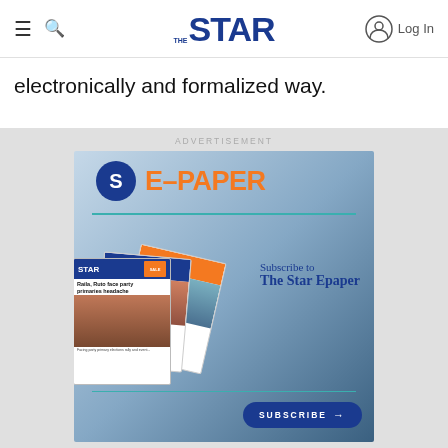THE STAR — Log In
electronically and formalized way.
[Figure (advertisement): The Star E-Paper advertisement banner. Shows 'E-PAPER' in large orange text with The Star logo circle, a horizontal teal divider, stacked newspaper images showing 'Raila, Ruto face party primaries headache' headline, 'Subscribe to The Star Epaper' text, and a blue SUBSCRIBE button with arrow. Labeled 'ADVERTISEMENT' at top.]